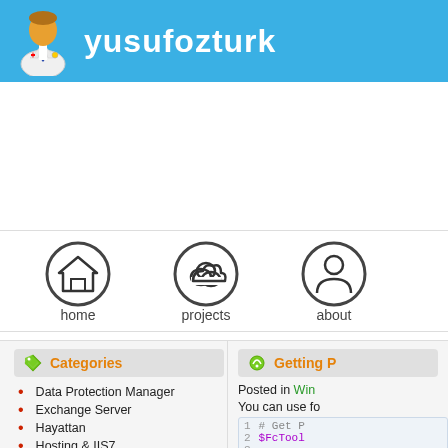yusufozturk
[Figure (illustration): Navigation bar with home, projects, and about icons]
Categories
Data Protection Manager
Exchange Server
Hayattan
Hosting & IIS7
Linux Server
Getting P...
Posted in Win...
You can use fo...
1  # Get P
2  $FcTool
3